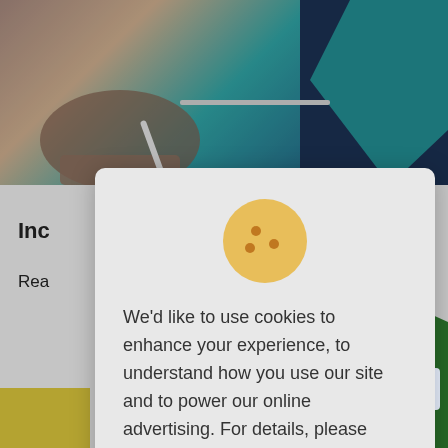[Figure (screenshot): Background webpage screenshot showing a person using a laptop with teal and dark blue decorative shapes. Partially visible text 'Inc' and 'Rea' on left side. Geometric colored shapes (green, teal, yellow) in bottom corners.]
[Figure (illustration): Cookie icon: an orange-yellow circle with three small darker orange dots, representing a cookie.]
We'd like to use cookies to enhance your experience, to understand how you use our site and to power our online advertising. For details, please read our Privacy Policy.
Ok, I understand